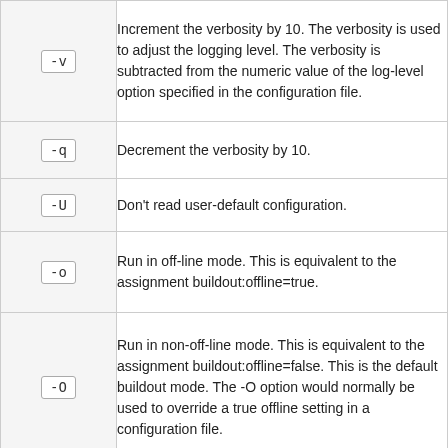| Option | Description |
| --- | --- |
| -v | Increment the verbosity by 10. The verbosity is used to adjust the logging level. The verbosity is subtracted from the numeric value of the log-level option specified in the configuration file. |
| -q | Decrement the verbosity by 10. |
| -U | Don't read user-default configuration. |
| -o | Run in off-line mode. This is equivalent to the assignment buildout:offline=true. |
| -O | Run in non-off-line mode. This is equivalent to the assignment buildout:offline=false. This is the default buildout mode. The -O option would normally be used to override a true offline setting in a configuration file. |
| -n | Run in newest mode. This is equivalent to the assignment buildout:newest=true. With this |